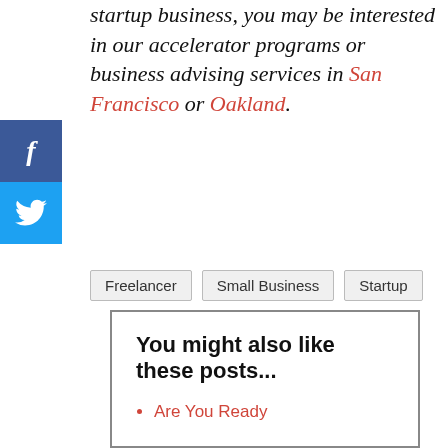startup business, you may be interested in our accelerator programs or business advising services in San Francisco or Oakland.
[Figure (other): Facebook share button (blue square with white italic f)]
[Figure (other): Twitter share button (light blue square with white bird icon)]
Freelancer
Small Business
Startup
You might also like these posts...
Are You Ready